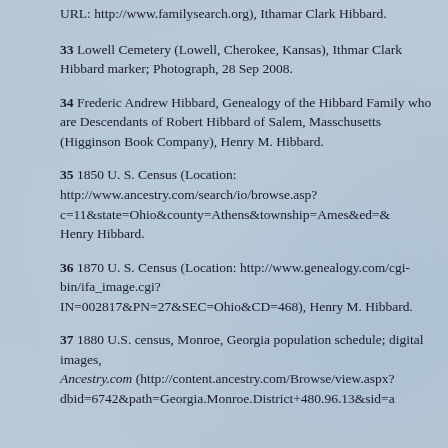URL: http://www.familysearch.org), Ithamar Clark Hibbard.
33 Lowell Cemetery (Lowell, Cherokee, Kansas), Ithmar Clark Hibbard marker; Photograph, 28 Sep 2008.
34 Frederic Andrew Hibbard, Genealogy of the Hibbard Family who are Descendants of Robert Hibbard of Salem, Masschusetts (Higginson Book Company), Henry M. Hibbard.
35 1850 U. S. Census (Location: http://www.ancestry.com/search/io/browse.asp?c=11&state=Ohio&county=Athens&township=Ames&ed=& Henry Hibbard.
36 1870 U. S. Census (Location: http://www.genealogy.com/cgi-bin/ifa_image.cgi?IN=002817&PN=27&SEC=Ohio&CD=468), Henry M. Hibbard.
37 1880 U.S. census, Monroe, Georgia population schedule; digital images, Ancestry.com (http://content.ancestry.com/Browse/view.aspx?dbid=6742&path=Georgia.Monroe.District+480.96.13&sid=a